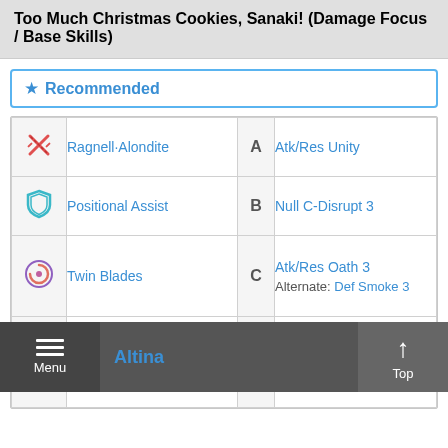Too Much Christmas Cookies, Sanaki! (Damage Focus / Base Skills)
★ Recommended
| Icon | Skill Name | Slot | Skill Options |
| --- | --- | --- | --- |
| [sword icon] | Ragnell·Alondite | A | Atk/Res Unity |
| [assist icon] | Positional Assist | B | Null C-Disrupt 3 |
| [special icon] | Twin Blades | C | Atk/Res Oath 3
Alternate: Def Smoke 3 |
| SP | 1700 | S | Atk/Def Solo 3
Alternate: Mirror Stance 2 |
Altina